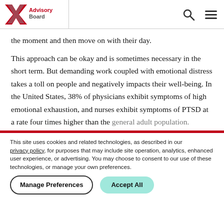Advisory Board
the moment and then move on with their day.
This approach can be okay and is sometimes necessary in the short term. But demanding work coupled with emotional distress takes a toll on people and negatively impacts their well-being. In the United States, 38% of physicians exhibit symptoms of high emotional exhaustion, and nurses exhibit symptoms of PTSD at a rate four times higher than the general adult population.
This site uses cookies and related technologies, as described in our privacy policy, for purposes that may include site operation, analytics, enhanced user experience, or advertising. You may choose to consent to our use of these technologies, or manage your own preferences.
Manage Preferences
Accept All